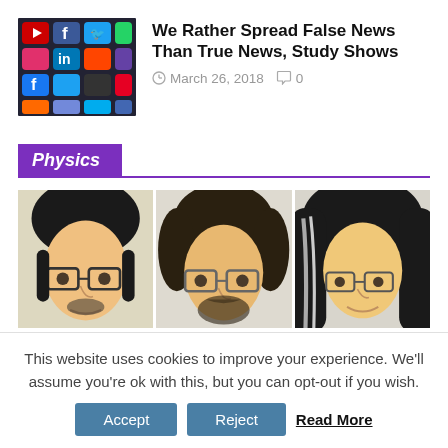[Figure (photo): Thumbnail photo showing social media app icons including Facebook, Twitter, and others on a smartphone screen]
We Rather Spread False News Than True News, Study Shows
March 26, 2018   0
Physics
[Figure (illustration): Three illustrated portrait sketches of people, shown in a horizontal strip, partially cropped]
This website uses cookies to improve your experience. We'll assume you're ok with this, but you can opt-out if you wish.
Accept   Reject   Read More